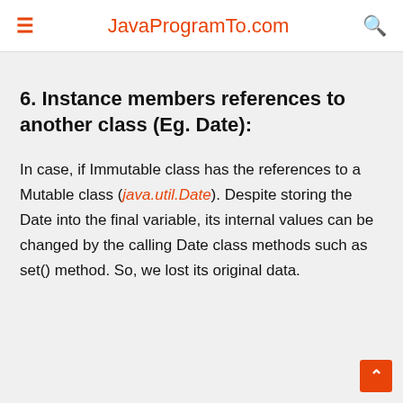JavaProgramTo.com
6. Instance members references to another class (Eg. Date):
In case, if Immutable class has the references to a Mutable class (java.util.Date). Despite storing the Date into the final variable, its internal values can be changed by the calling Date class methods such as set() method. So, we lost its original data.